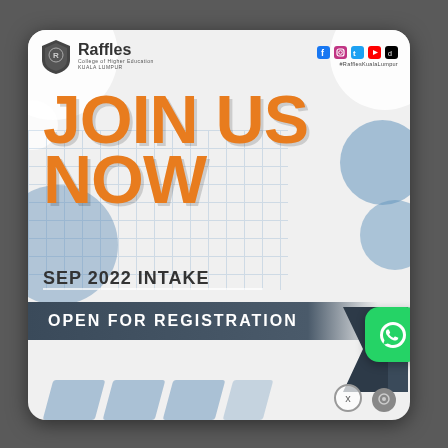[Figure (infographic): Raffles College of Higher Education promotional flyer for SEP 2022 INTAKE. Shows 'JOIN US NOW' in large orange bold text, 'SEP 2022 INTAKE' subtitle, 'OPEN FOR REGISTRATION' banner, Raffles logo top left, social media icons top right (#RafflesKualaLumpur), decorative geometric circles and chevron shapes, WhatsApp button.]